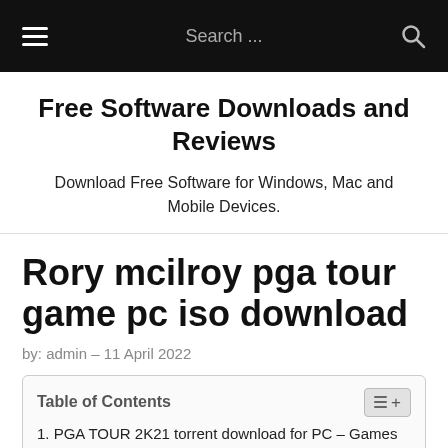Search ...
Free Software Downloads and Reviews
Download Free Software for Windows, Mac and Mobile Devices.
Rory mcilroy pga tour game pc iso download
by: admin – 11 April 2022
Table of Contents
1. PGA TOUR 2K21 torrent download for PC – Games torrent free